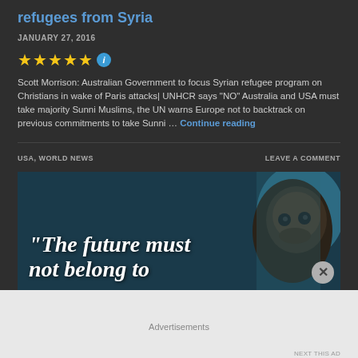refugees from Syria
JANUARY 27, 2016
[Figure (other): Five gold star rating icons followed by a blue info icon]
Scott Morrison: Australian Government to focus Syrian refugee program on Christians in wake of Paris attacks| UNHCR says “NO” Australia and USA must take majority Sunni Muslims, the UN warns Europe not to backtrack on previous commitments to take Sunni … Continue reading
USA, WORLD NEWS
LEAVE A COMMENT
[Figure (photo): Photo of a man's face with overlaid white italic text reading “The future must not belong to” on a dark teal background]
Advertisements